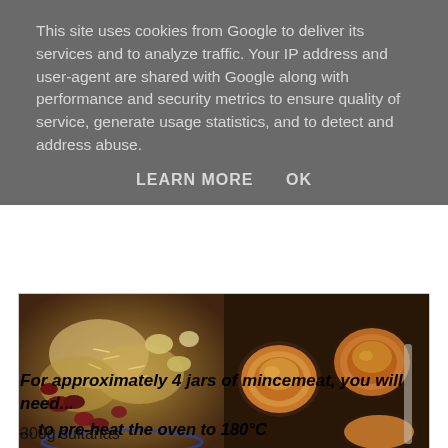This site uses cookies from Google to deliver its services and to analyze traffic. Your IP address and user-agent are shared with Google along with performance and security metrics to ensure quality of service, generate usage statistics, and to detect and address abuse.
LEARN MORE    OK
[Figure (photo): Left: bowl of mixed dried fruits including raisins, sultanas, and other dried fruits with oats. Right: muffin tin with baked mince pies.]
See? Assembly job!
For approximately 4 jars of mincemeat, you will need...
... to pre-heat the oven to 180°C
300g sultanas
100g ready-to-eat prunes (e.g. no stone), finely chopped
100g dried sour cherries (or dried cranberries), finely